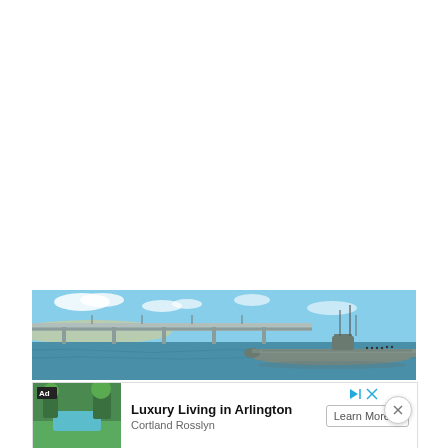[Figure (photo): Panoramic photo of a submarine docked at a harbor with a bridge visible in the background under a blue sky with clouds]
[Figure (photo): Advertisement banner: 'Luxury Living in Arlington' by Cortland Rosslyn with a Learn More button, showing a garden/pool thumbnail image]